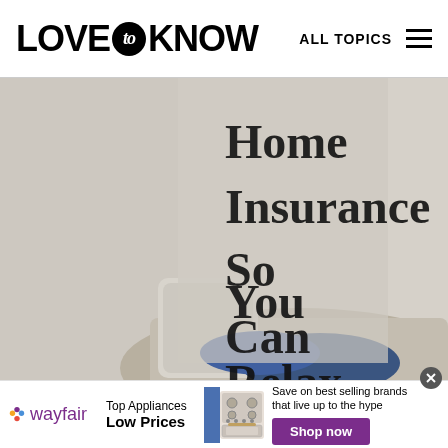LOVE to KNOW | ALL TOPICS
[Figure (photo): Woman sitting on a sofa holding a mug with eyes closed and relaxed expression, overlaid with large serif text reading 'Home Insurance So You Can Relax' on a light beige background]
[Figure (infographic): Wayfair advertisement banner. Wayfair logo on left with colorful star icon, middle text 'Top Appliances Low Prices', image of a stove/range appliance, right side text 'Save on best selling brands that live up to the hype' with a purple 'Shop now' button]